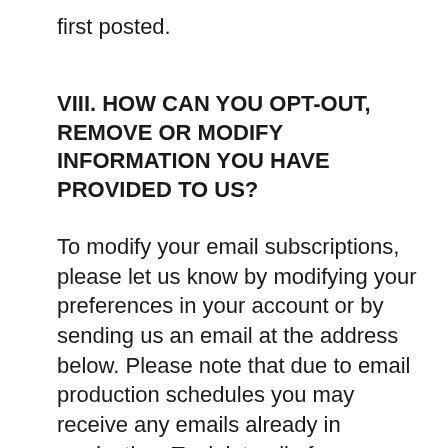first posted.
VIII. HOW CAN YOU OPT-OUT, REMOVE OR MODIFY INFORMATION YOU HAVE PROVIDED TO US?
To modify your email subscriptions, please let us know by modifying your preferences in your account or by sending us an email at the address below. Please note that due to email production schedules you may receive any emails already in production. To delete all of your online account information from our database please contact us directly by email at info@mp3fromyou.tube. Subject to applicable laws, please note that we may